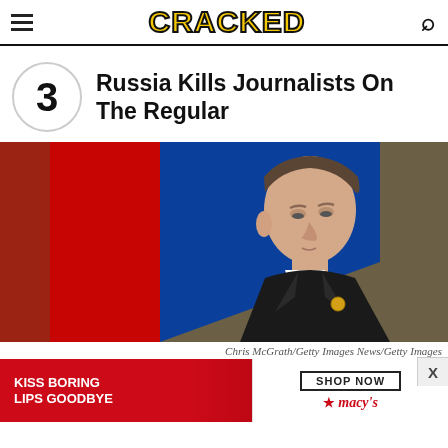CRACKED
3 Russia Kills Journalists On The Regular
[Figure (photo): Man in dark suit with gold pin in front of Russian flag (red and blue), looking downward — photo of Vladimir Putin at an official event]
Chris McGrath/Getty Images News/Getty Images
[Figure (infographic): Macy's advertisement banner: 'KISS BORING LIPS GOODBYE' on red background with woman's face, and 'SHOP NOW' button with Macy's star logo on white background]